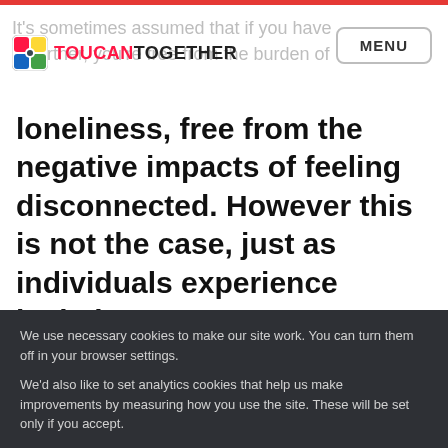TOUCAN TOGETHER — MENU
It's sometimes assumed that if you have a partner, you're free from the burden of loneliness, free from the negative impacts of feeling disconnected. However this is not the case, just as individuals experience isolation,
We use necessary cookies to make our site work. You can turn them off in your browser settings.
We'd also like to set analytics cookies that help us make improvements by measuring how you use the site. These will be set only if you accept.
REJECT
ALLOW